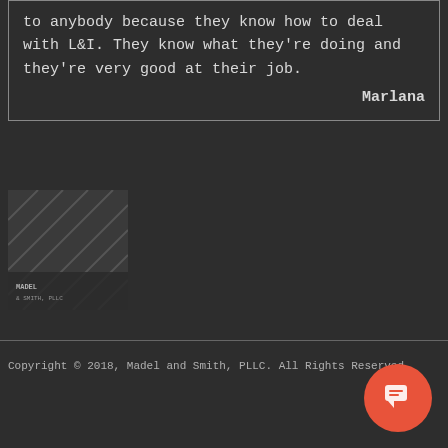to anybody because they know how to deal with L&I. They know what they're doing and they're very good at their job.

Marlana
[Figure (logo): Madel and Smith PLLC logo — dark background with stylized diagonal lines and text]
Copyright © 2018, Madel and Smith, PLLC. All Rights Reserved